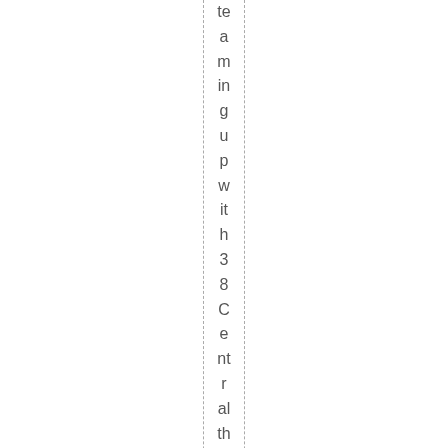teaming up with 38 Central this Friday, Se